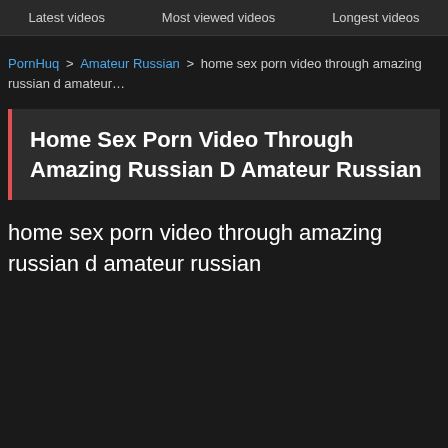Latest videos  Most viewed videos  Longest videos
PornHuq > Amateur Russian > home sex porn video through amazing russian d amateur…
Home Sex Porn Video Through Amazing Russian D Amateur Russian
home sex porn video through amazing russian d amateur russian